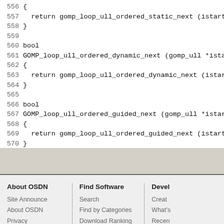556 {
557   return gomp_loop_ull_ordered_static_next (istart, ien
558 }
559 
560 bool
561 GOMP_loop_ull_ordered_dynamic_next (gomp_ull *istart, g
562 {
563   return gomp_loop_ull_ordered_dynamic_next (istart, ie
564 }
565 
566 bool
567 GOMP_loop_ull_ordered_guided_next (gomp_ull *istart, go
568 {
569   return gomp_loop_ull_ordered_guided_next (istart, ien
570 }
571 #endif
About OSDN | Find Software | Developer | Copyright ©OS